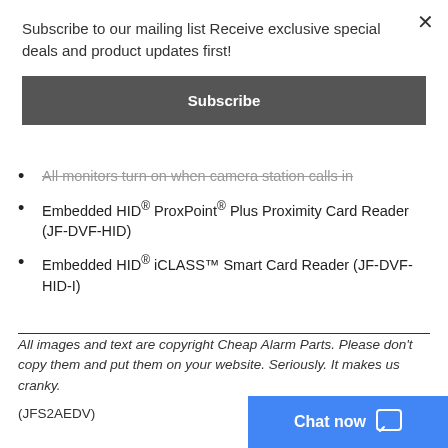Subscribe to our mailing list Receive exclusive special deals and product updates first!
Subscribe
All monitors turn on when camera station calls in
Embedded HID® ProxPoint® Plus Proximity Card Reader (JF-DVF-HID)
Embedded HID® iCLASS™ Smart Card Reader (JF-DVF-HID-I)
All images and text are copyright Cheap Alarm Parts. Please don't copy them and put them on your website. Seriously. It makes us cranky.
(JFS2AEDV)